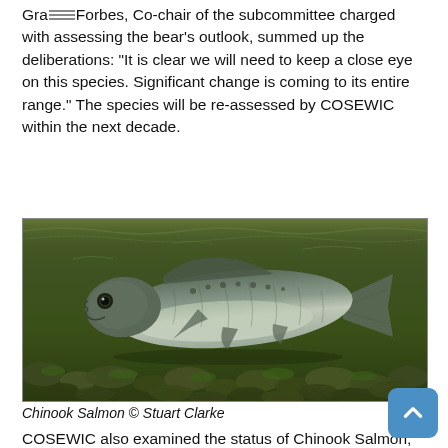Graham Forbes, Co-chair of the subcommittee charged with assessing the bear's outlook, summed up the deliberations: "It is clear we will need to keep a close eye on this species. Significant change is coming to its entire range." The species will be re-assessed by COSEWIC within the next decade.
[Figure (photo): Underwater photograph of a Chinook Salmon swimming above a rocky riverbed covered in green algae. The fish is large-bodied and silvery, viewed from a slight angle. The water has a green-brown tint.]
Chinook Salmon © Stuart Clarke
COSEWIC also examined the status of Chinook Salmon, the king of the Pacific Coast salmon species. Mainly a migratory species, these large-bodied fish